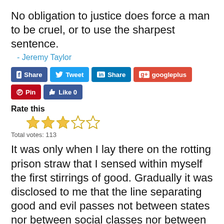No obligation to justice does force a man to be cruel, or to use the sharpest sentence.
- Jeremy Taylor
[Figure (screenshot): Social media sharing buttons: Facebook Share, Twitter Tweet, LinkedIn Share, Google+ googleplus, Pinterest Pin, Facebook Like 0]
Rate this
[Figure (other): Star rating: 3 out of 5 stars (first 3 colored gold, last 2 outline)]
Total votes: 113
It was only when I lay there on the rotting prison straw that I sensed within myself the first stirrings of good. Gradually it was disclosed to me that the line separating good and evil passes not between states nor between social classes nor between political parties, but right through every human heart.